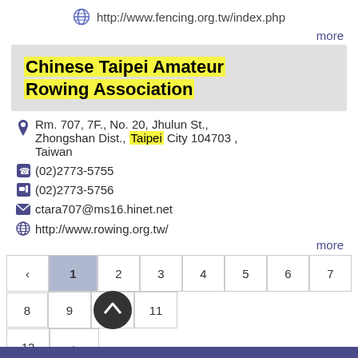http://www.fencing.org.tw/index.php
more
Chinese Taipei Amateur Rowing Association
Rm. 707, 7F., No. 20, Jhulun St., Zhongshan Dist., Taipei City 104703 , Taiwan
(02)2773-5755
(02)2773-5756
ctara707@ms16.hinet.net
http://www.rowing.org.tw/
more
‹ 1 2 3 4 5 6 7 8 9 10 11 12 ›